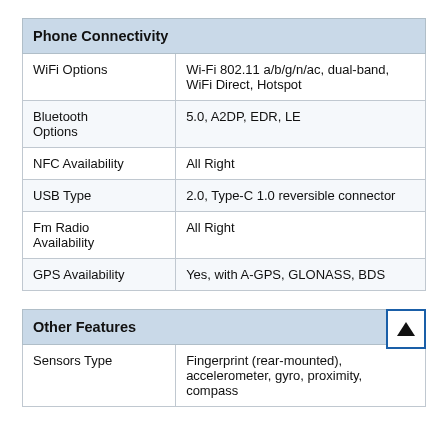| Phone Connectivity |  |
| --- | --- |
| WiFi Options | Wi-Fi 802.11 a/b/g/n/ac, dual-band, WiFi Direct, Hotspot |
| Bluetooth Options | 5.0, A2DP, EDR, LE |
| NFC Availability | All Right |
| USB Type | 2.0, Type-C 1.0 reversible connector |
| Fm Radio Availability | All Right |
| GPS Availability | Yes, with A-GPS, GLONASS, BDS |
| Other Features |  |
| --- | --- |
| Sensors Type | Fingerprint (rear-mounted), accelerometer, gyro, proximity, compass |